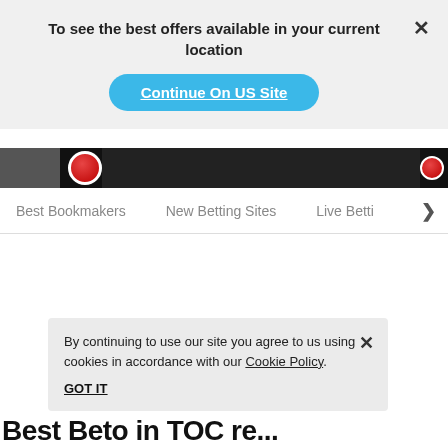To see the best offers available in your current location
Continue On US Site
[Figure (screenshot): Dark banner image strip showing roulette chips on a dark background]
Best Bookmakers   New Betting Sites   Live Bett >
By continuing to use our site you agree to us using cookies in accordance with our Cookie Policy.
GOT IT
ying, but you can